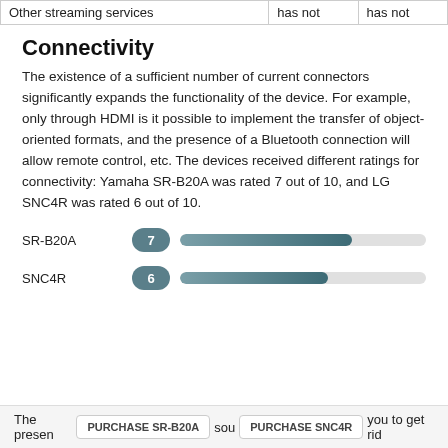|  |  |  |
| --- | --- | --- |
| Other streaming services | has not | has not |
Connectivity
The existence of a sufficient number of current connectors significantly expands the functionality of the device. For example, only through HDMI is it possible to implement the transfer of object-oriented formats, and the presence of a Bluetooth connection will allow remote control, etc. The devices received different ratings for connectivity: Yamaha SR-B20A was rated 7 out of 10, and LG SNC4R was rated 6 out of 10.
[Figure (bar-chart): Connectivity ratings]
The presence of WiFi in the soundbar allows you to get rid